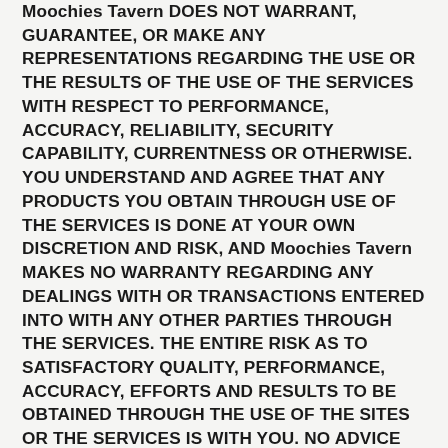Moochies Tavern DOES NOT WARRANT, GUARANTEE, OR MAKE ANY REPRESENTATIONS REGARDING THE USE OR THE RESULTS OF THE USE OF THE SERVICES WITH RESPECT TO PERFORMANCE, ACCURACY, RELIABILITY, SECURITY CAPABILITY, CURRENTNESS OR OTHERWISE. YOU UNDERSTAND AND AGREE THAT ANY PRODUCTS YOU OBTAIN THROUGH USE OF THE SERVICES IS DONE AT YOUR OWN DISCRETION AND RISK, AND Moochies Tavern MAKES NO WARRANTY REGARDING ANY DEALINGS WITH OR TRANSACTIONS ENTERED INTO WITH ANY OTHER PARTIES THROUGH THE SERVICES. THE ENTIRE RISK AS TO SATISFACTORY QUALITY, PERFORMANCE, ACCURACY, EFFORTS AND RESULTS TO BE OBTAINED THROUGH THE USE OF THE SITES OR THE SERVICES IS WITH YOU. NO ADVICE OR INFORMATION, WHETHER ORAL OR WRITTEN, OBTAINED BY YOU FROM Moochies Tavern OR THROUGH THE SERVICES SHALL CREATE ANY WARRANTY NOT EXPRESSLY MADE